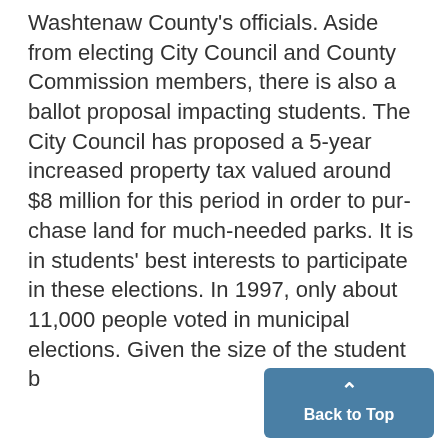Washtenaw County's officials. Aside from electing City Council and County Commission members, there is also a ballot proposal impacting students. The City Council has proposed a 5-year increased property tax valued around $8 million for this period in order to purchase land for much-needed parks. It is in students' best interests to participate in these elections. In 1997, only about 11,000 people voted in municipal elections. Given the size of the student b